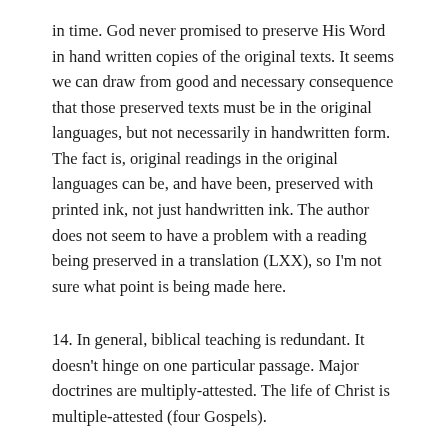in time. God never promised to preserve His Word in hand written copies of the original texts. It seems we can draw from good and necessary consequence that those preserved texts must be in the original languages, but not necessarily in handwritten form. The fact is, original readings in the original languages can be, and have been, preserved with printed ink, not just handwritten ink. The author does not seem to have a problem with a reading being preserved in a translation (LXX), so I'm not sure what point is being made here.
14. In general, biblical teaching is redundant. It doesn't hinge on one particular passage. Major doctrines are multiply-attested. The life of Christ is multiple-attested (four Gospels).